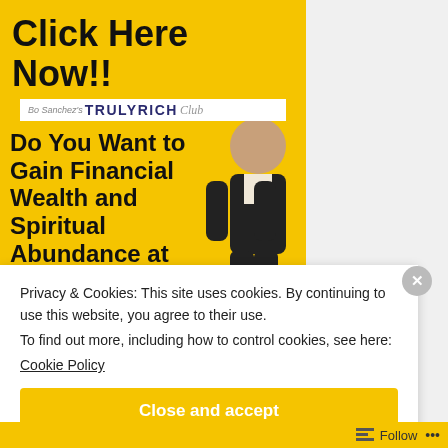[Figure (infographic): Yellow advertisement banner for TrulyRich Club with bold text 'Click Here Now!!' and 'Do You Want to Gain Financial Wealth and Spiritual Abundance at' alongside a photo of a smiling man in a black suit with arms crossed, TrulyRich Club logo bar in white]
Privacy & Cookies: This site uses cookies. By continuing to use this website, you agree to their use.
To find out more, including how to control cookies, see here:
Cookie Policy
Close and accept